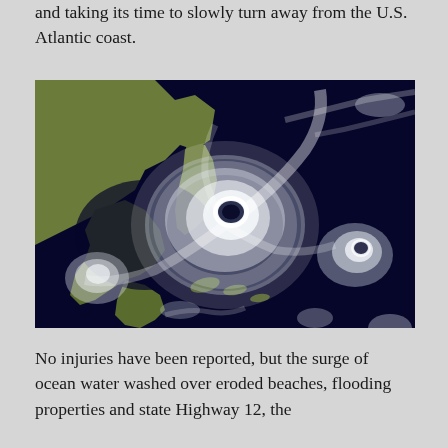and taking its time to slowly turn away from the U.S. Atlantic coast.
[Figure (photo): Satellite image showing a large hurricane system over the Atlantic/Gulf region near the southeastern United States, with a clearly visible eye wall and spiral bands. Additional smaller storm systems are visible to the west and east.]
No injuries have been reported, but the surge of ocean water washed over eroded beaches, flooding properties and state Highway 12, the